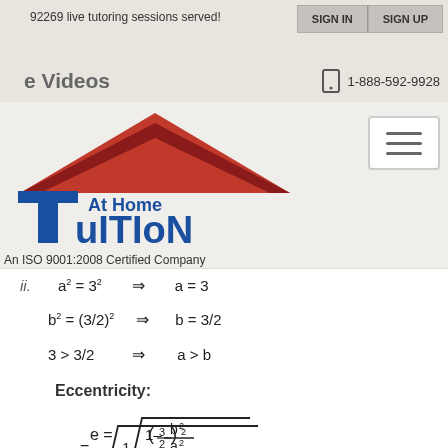92269 live tutoring sessions served!
SIGN IN   SIGN UP
e Videos   1-888-592-9928
[Figure (logo): At Home Tuition logo with red roof triangle and blue bold text]
An ISO 9001:2008 Certified Company
Eccentricity: